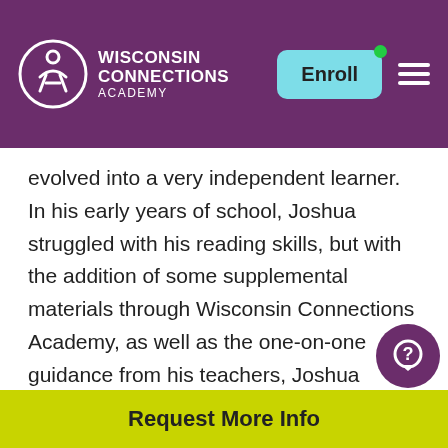Wisconsin Connections Academy — Enroll
evolved into a very independent learner. In his early years of school, Joshua struggled with his reading skills, but with the addition of some supplemental materials through Wisconsin Connections Academy, as well as the one-on-one guidance from his teachers, Joshua became an excellent reader. Today he oves to read and enjoys the Game of Thrones series. In middle school, Joshua struggled a bit with pre-algebra, but his teacher took the time
Request More Info